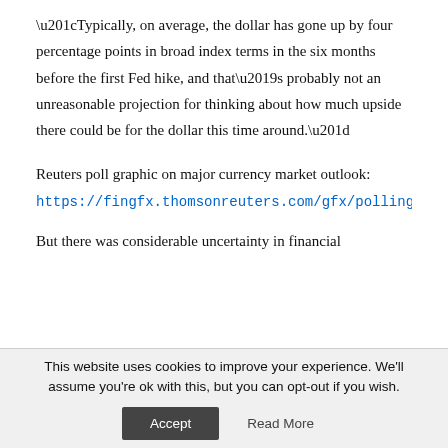“Typically, on average, the dollar has gone up by four percentage points in broad index terms in the six months before the first Fed hike, and that’s probably not an unreasonable projection for thinking about how much upside there could be for the dollar this time around.”
Reuters poll graphic on major currency market outlook:
https://fingfx.thomsonreuters.com/gfx/polling/zgvomnm...
But there was considerable uncertainty in financial
This website uses cookies to improve your experience. We’ll assume you’re ok with this, but you can opt-out if you wish.